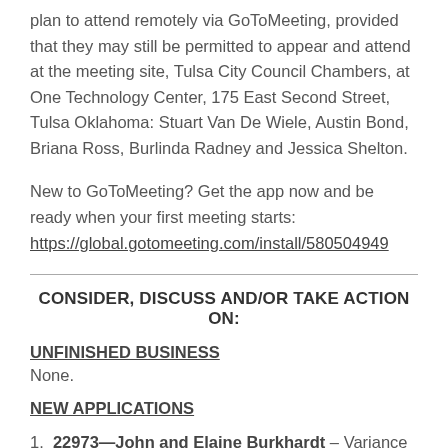plan to attend remotely via GoToMeeting, provided that they may still be permitted to appear and attend at the meeting site, Tulsa City Council Chambers, at One Technology Center, 175 East Second Street, Tulsa Oklahoma: Stuart Van De Wiele, Austin Bond, Briana Ross, Burlinda Radney and Jessica Shelton.
New to GoToMeeting? Get the app now and be ready when your first meeting starts: https://global.gotomeeting.com/install/580504949
CONSIDER, DISCUSS AND/OR TAKE ACTION ON:
UNFINISHED BUSINESS
None.
NEW APPLICATIONS
1. 22973—John and Elaine Burkhardt – Variance to